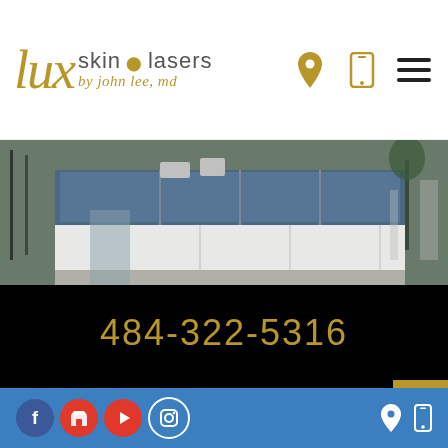[Figure (logo): Lux Skin & Lasers by John Lee MD logo with gold script and navigation icons]
[Figure (photo): Exterior photo of a modern medical clinic building with glass facade]
484-322-5316
CENTER OF MAIN LINE
1301 County Line Rd
[Figure (infographic): Bottom navigation bar with Facebook, store, YouTube, Instagram social icons and location/phone icons on blue background]